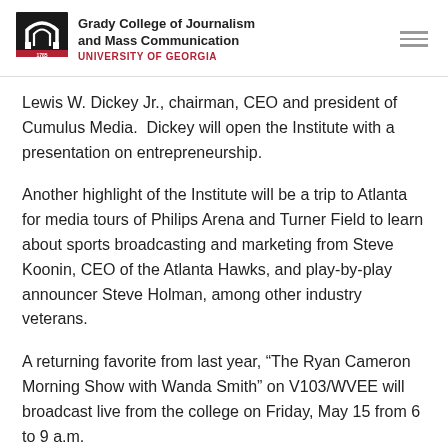Grady College of Journalism and Mass Communication – UNIVERSITY OF GEORGIA
Lewis W. Dickey Jr., chairman, CEO and president of Cumulus Media.  Dickey will open the Institute with a presentation on entrepreneurship.
Another highlight of the Institute will be a trip to Atlanta for media tours of Philips Arena and Turner Field to learn about sports broadcasting and marketing from Steve Koonin, CEO of the Atlanta Hawks, and play-by-play announcer Steve Holman, among other industry veterans.
A returning favorite from last year, “The Ryan Cameron Morning Show with Wanda Smith” on V103/WVEE will broadcast live from the college on Friday, May 15 from 6 to 9 a.m.